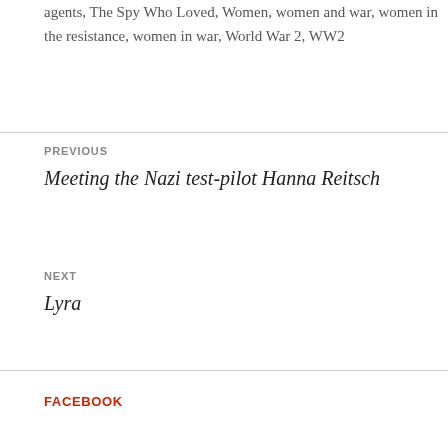agents, The Spy Who Loved, Women, women and war, women in the resistance, women in war, World War 2, WW2
PREVIOUS
Meeting the Nazi test-pilot Hanna Reitsch
NEXT
Lyra
FACEBOOK